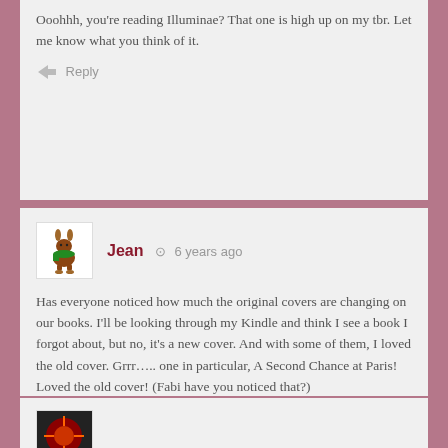Ooohhh, you're reading Illuminae? That one is high up on my tbr. Let me know what you think of it.
Reply
Jean · 6 years ago
Has everyone noticed how much the original covers are changing on our books. I'll be looking through my Kindle and think I see a book I forgot about, but no, it's a new cover. And with some of them, I loved the old cover. Grrr….. one in particular, A Second Chance at Paris! Loved the old cover! (Fabi have you noticed that?)
Reply
[Figure (photo): Avatar image at bottom of page, partially visible]